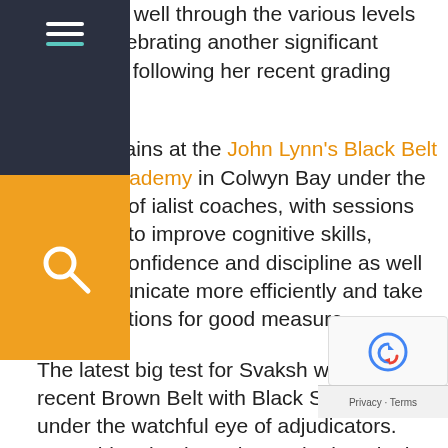[Figure (other): Dark navigation bar with hamburger menu icon (three lines, third line in teal) and orange search box with magnifying glass icon below]
extremely well through the various levels and is celebrating another significant milestone following her recent grading triumph.
Svaksh trains at the John Lynn's Black Belt Martial Academy in Colwyn Bay under the guidance of ialist coaches, with sessions designed to improve cognitive skills, improve confidence and discipline as well as communicate more efficiently and take on instructions for good measure.
The latest big test for Svaksh was his recent Brown Belt with Black Stripe grading under the watchful eye of adjudicators. Something that brought out the best in the Prep pupil once again with a flawless showing to pass the assessment with flying co
This is the latest in a series of exceptional resu from Svaksh, who has already begun working on